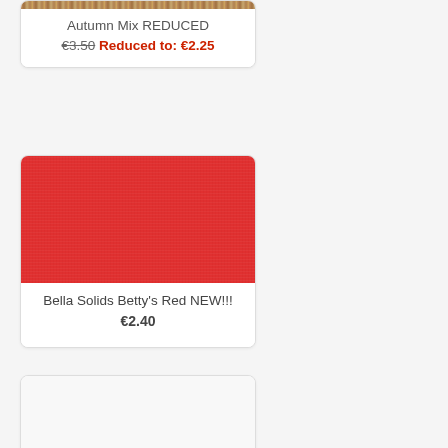[Figure (photo): Autumn Mix fabric swatch — warm tan/brown textile pattern]
Autumn Mix REDUCED
€3.50 Reduced to: €2.25
[Figure (photo): Bella Solids Betty's Red fabric swatch — solid red textile]
Bella Solids Betty's Red NEW!!!
€2.40
[Figure (photo): Moda Bleached White (Off... fabric swatch — white textile]
Moda Bleached White (Off